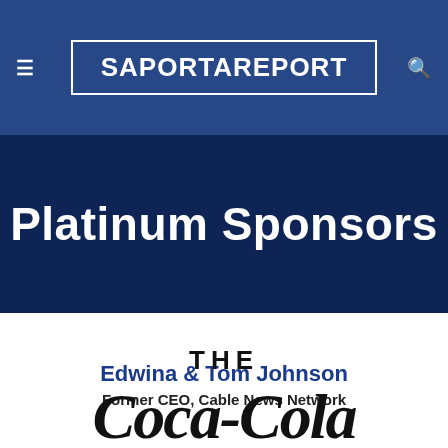SaportaReport
Platinum Sponsors
Edwina & Tom Johnson
Former CEO, Cable News Network
[Figure (logo): The Coca-Cola Company logo — 'THE' in bold uppercase and the Coca-Cola script wordmark below]